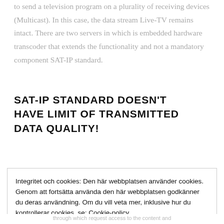to send a television program on a plurality of receiving devices (Multicast). In this case, the data stream Live-TV remains intact. There are two servers in which is embedded hardware transcoder that extends the functionality and not a mandatory component SAT-IP standard.
SAT-IP STANDARD DOESN'T HAVE LIMIT OF TRANSMITTED DATA QUALITY!
Integritet och cookies: Den här webbplatsen använder cookies. Genom att fortsätta använda den här webbplatsen godkänner du deras användning. Om du vill veta mer, inklusive hur du kontrollerar cookies, se: Cookie-policy
through which request access to the content and